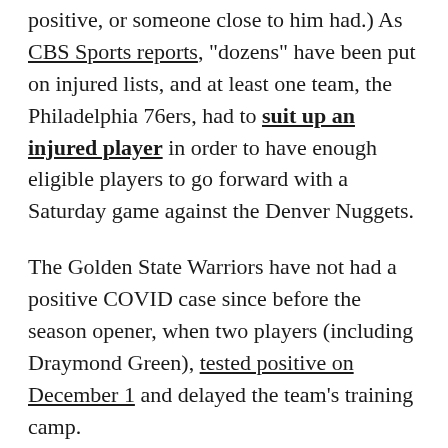positive, or someone close to him had.) As CBS Sports reports, "dozens" have been put on injured lists, and at least one team, the Philadelphia 76ers, had to suit up an injured player in order to have enough eligible players to go forward with a Saturday game against the Denver Nuggets.
The Golden State Warriors have not had a positive COVID case since before the season opener, when two players (including Draymond Green), tested positive on December 1 and delayed the team's training camp.